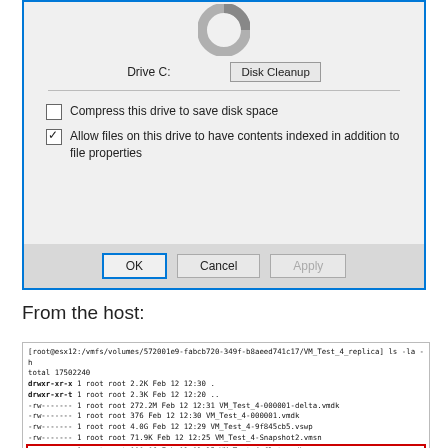[Figure (screenshot): Windows Drive Properties dialog showing Drive C: with Disk Cleanup button, checkboxes for compress drive and allow indexing, and OK/Cancel/Apply buttons]
From the host:
[Figure (screenshot): Terminal output showing ls -la -h listing of /vmfs/volumes/572001e9-fabcb720-349f-b8aeed741c17/VM_Test_4_replica directory with file details, with VM_Test_4-flat.vmdk row highlighted in red]